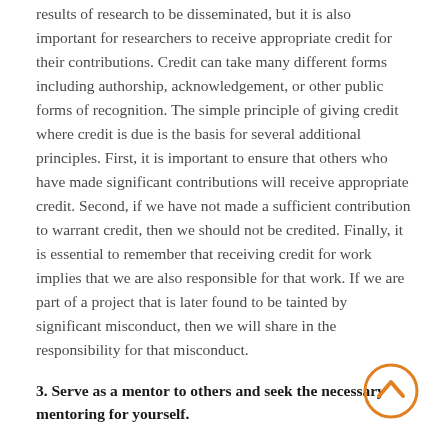results of research to be disseminated, but it is also important for researchers to receive appropriate credit for their contributions. Credit can take many different forms including authorship, acknowledgement, or other public forms of recognition. The simple principle of giving credit where credit is due is the basis for several additional principles. First, it is important to ensure that others who have made significant contributions will receive appropriate credit. Second, if we have not made a sufficient contribution to warrant credit, then we should not be credited. Finally, it is essential to remember that receiving credit for work implies that we are also responsible for that work. If we are part of a project that is later found to be tainted by significant misconduct, then we will share in the responsibility for that misconduct.
3. Serve as a mentor to others and seek the necessary mentoring for yourself.
[Figure (other): Orange circular navigation button with upward-pointing chevron arrow]